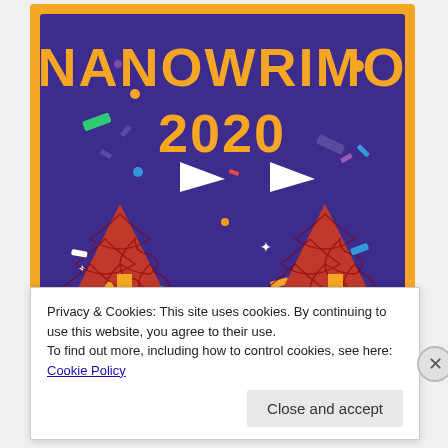[Figure (illustration): NaNoWriMo 2020 Winner badge illustration showing a purple background with orange text 'NANOWRIMO 2020' at the top and 'WINNER' at the bottom, with a castle silhouette in orange and two red/orange triangular rooftops decorated with a scale pattern. Colorful confetti pieces scattered throughout. The badge has an orange border.]
Privacy & Cookies: This site uses cookies. By continuing to use this website, you agree to their use.
To find out more, including how to control cookies, see here: Cookie Policy
Close and accept